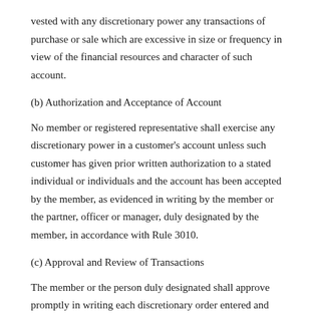vested with any discretionary power any transactions of purchase or sale which are excessive in size or frequency in view of the financial resources and character of such account.
(b) Authorization and Acceptance of Account
No member or registered representative shall exercise any discretionary power in a customer's account unless such customer has given prior written authorization to a stated individual or individuals and the account has been accepted by the member, as evidenced in writing by the member or the partner, officer or manager, duly designated by the member, in accordance with Rule 3010.
(c) Approval and Review of Transactions
The member or the person duly designated shall approve promptly in writing each discretionary order entered and shall review all discretionary accounts at frequent intervals